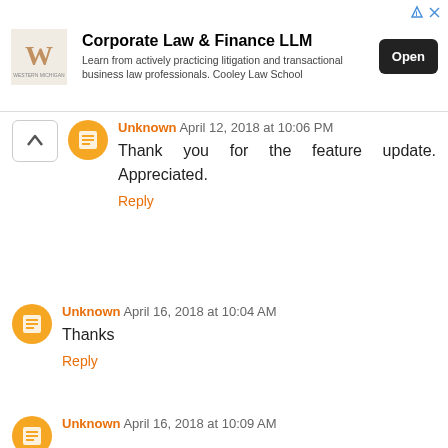[Figure (infographic): Advertisement banner for Corporate Law & Finance LLM by Cooley Law School with logo, description text, and Open button]
Unknown April 12, 2018 at 10:06 PM
Thank you for the feature update. Appreciated.
Reply
Unknown April 16, 2018 at 10:04 AM
Thanks
Reply
Unknown April 16, 2018 at 10:09 AM